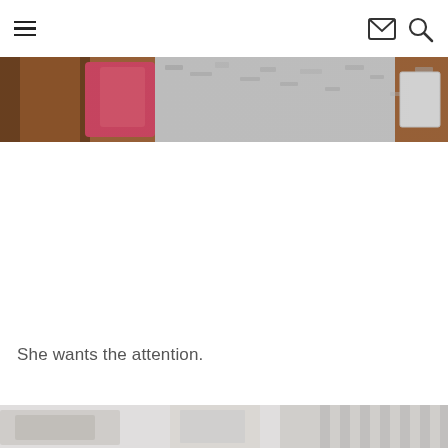Navigation header with hamburger menu, mail icon, and search icon
[Figure (photo): Cropped horizontal photo showing a person with brown hair, a pink/coral garment or item, and a white textured surface, taken indoors near a wooden surface]
She wants the attention.
[Figure (photo): Partial bottom photo showing a light grey/white textured scene, partially cropped at the bottom of the page]